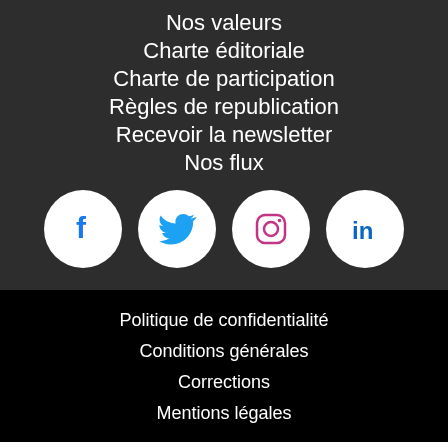Nos valeurs
Charte éditoriale
Charte de participation
Règles de republication
Recevoir la newsletter
Nos flux
[Figure (infographic): Four social media icons in white circles: Facebook, Twitter, Instagram, LinkedIn]
Politique de confidentialité
Conditions générales
Corrections
Mentions légales